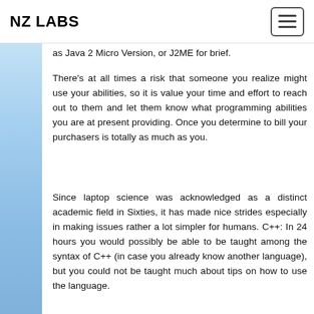NZ LABS
as Java 2 Micro Version, or J2ME for brief.
There's at all times a risk that someone you realize might use your abilities, so it is value your time and effort to reach out to them and let them know what programming abilities you are at present providing. Once you determine to bill your purchasers is totally as much as you.
Since laptop science was acknowledged as a distinct academic field in Sixties, it has made nice strides especially in making issues rather a lot simpler for humans. C++: In 24 hours you would possibly be able to be taught among the syntax of C++ (in case you already know another language), but you could not be taught much about tips on how to use the language.